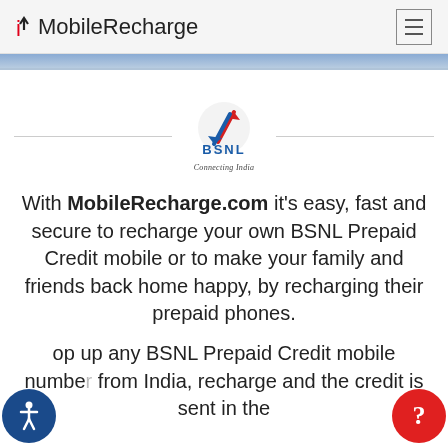MobileRecharge
[Figure (logo): BSNL logo — circular icon with red upward arrow and blue downward arrow, text 'BSNL' in blue, tagline 'Connecting India' in italics]
With MobileRecharge.com it's easy, fast and secure to recharge your own BSNL Prepaid Credit mobile or to make your family and friends back home happy, by recharging their prepaid phones.
op up any BSNL Prepaid Credit mobile number from India, recharge and the credit is sent in the